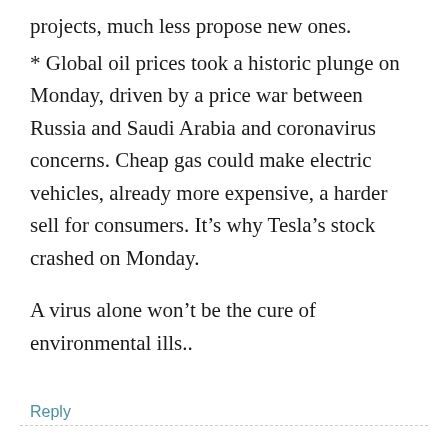projects, much less propose new ones.
* Global oil prices took a historic plunge on Monday, driven by a price war between Russia and Saudi Arabia and coronavirus concerns. Cheap gas could make electric vehicles, already more expensive, a harder sell for consumers. It’s why Tesla’s stock crashed on Monday.
A virus alone won’t be the cure of environmental ills..
Reply